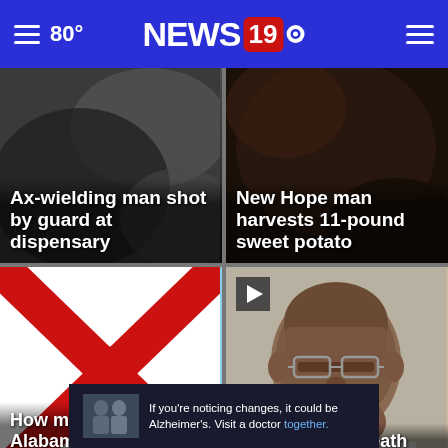80° NEWS 19
[Figure (photo): Dark smoky background for ax-wielding man story]
Ax-wielding man shot by guard at dispensary
[Figure (photo): Dark brown background for sweet potato story]
New Hope man harvests 11-pound sweet potato
[Figure (photo): Alabama state flag waving - white background with red X cross]
How much land in Alabama is owned by the government
[Figure (photo): Bald man with glasses mugshot photo - Dothan man death sentence story]
Dothan man's death sentence
If you're noticing changes, it could be Alzheimer's. Visit a doctor together.